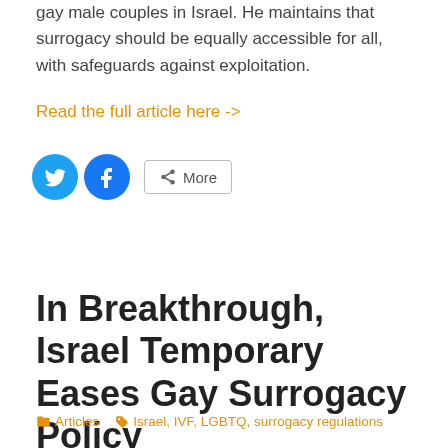gay male couples in Israel. He maintains that surrogacy should be equally accessible for all, with safeguards against exploitation.
Read the full article here ->
[Figure (other): Social share buttons: Twitter (blue circle), Facebook (blue circle), and a More button with share icon]
In Breakthrough, Israel Temporary Eases Gay Surrogacy Policy
Articles  Israel, IVF, LGBTQ, surrogacy regulations